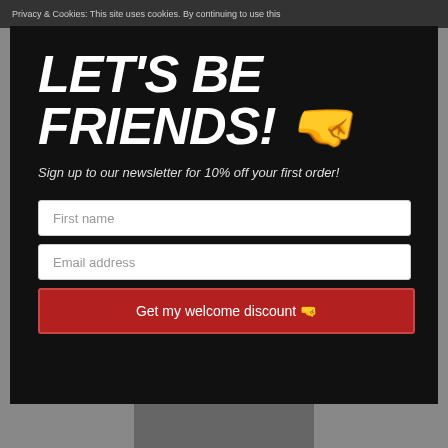Privacy & Cookies: This site uses cookies. By continuing to use this
LET'S BE FRIENDS! 🤜
Sign up to our newsletter for 10% off your first order!
First name
Email address
Get my welcome discount 🤜
[Figure (photo): Bottom portion of a background photo visible beneath the modal]